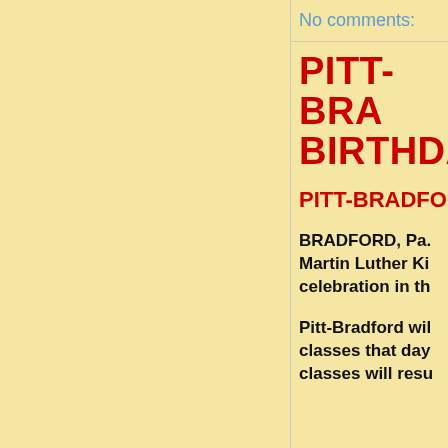No comments:
PITT-BRADFORD BIRTHDAY
PITT-BRADFORD
BRADFORD, Pa. Martin Luther King celebration in the
Pitt-Bradford will classes that day classes will resu